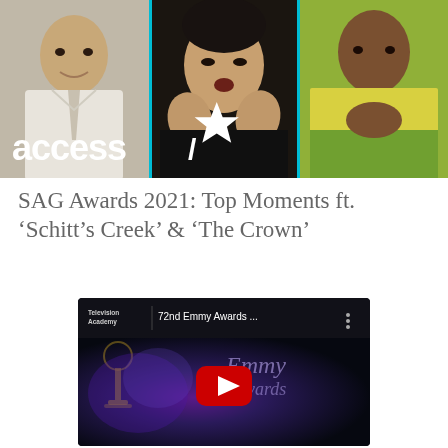[Figure (photo): Three-panel composite image with Access Hollywood logo overlay. Left panel: man in white suit smiling. Center panel: Asian woman with hands raised near face. Right panel: Black woman in yellow top with hands clasped.]
SAG Awards 2021: Top Moments ft. ‘Schitt’s Creek’ & ‘The Crown’
[Figure (screenshot): YouTube video embed thumbnail showing Television Academy channel, title '72nd Emmy Awards ...', with red YouTube play button over a dark blue/purple background with Emmy statuette silhouette and '72 Emmys' text.]